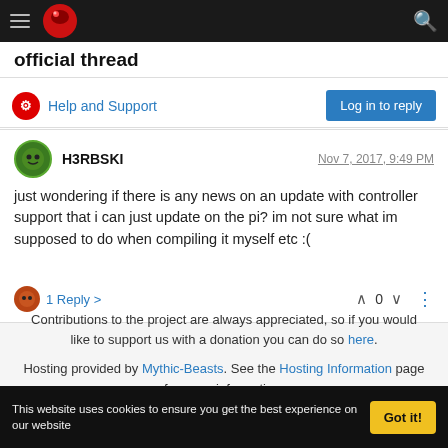official thread
Help and Support
Log in to reply
H3RBSKI   Nov 7, 2017, 9:49 PM
just wondering if there is any news on an update with controller support that i can just update on the pi? im not sure what im supposed to do when compiling it myself etc :(
1 Reply >   0
Contributions to the project are always appreciated, so if you would like to support us with a donation you can do so here.
Hosting provided by Mythic-Beasts. See the Hosting Information page for more information.
This website uses cookies to ensure you get the best experience on our website   Got it!